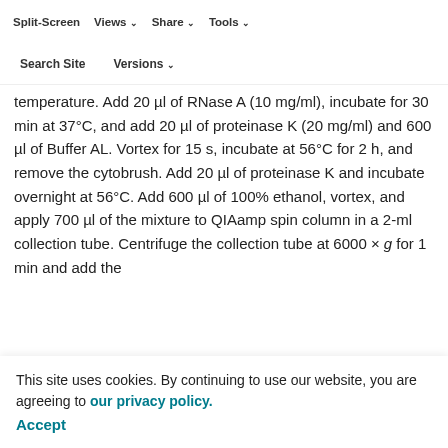QIAamp DNA Blood Mini Kit (Qiagen Inc.) for CytoBrush (Mold Manufacturer's Instructions). Place the brush in a 3-ml centrifuge tube, add 600 µl of PBS to the sample, and incubate for 5 min at room
temperature. Add 20 µl of RNase A (10 mg/ml), incubate for 30 min at 37°C, and add 20 µl of proteinase K (20 mg/ml) and 600 µl of Buffer AL. Vortex for 15 s, incubate at 56°C for 2 h, and remove the cytobrush. Add 20 µl of proteinase K and incubate overnight at 56°C. Add 600 µl of 100% ethanol, vortex, and apply 700 µl of the mixture to QIAamp spin column in a 2-ml collection tube. Centrifuge the collection tube at 6000 × g for 1 min and add the remaining mixture to the column in a clean 2-ml collection tube. Centrifuge the collection tube at 6000 × g for 1 min and add 500 µl of Buffer AW1 to QIAamp spin column in a clean 2-ml collection tube. Centrifuge the collection tube at
This site uses cookies. By continuing to use our website, you are agreeing to our privacy policy. Accept